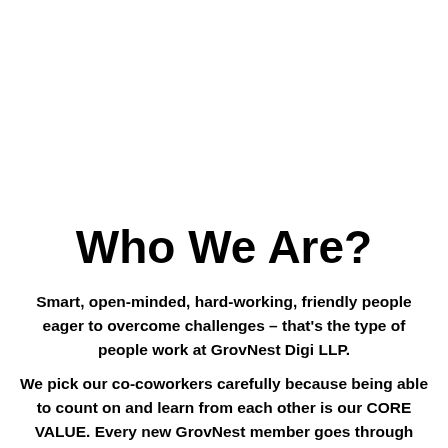Who We Are?
Smart, open-minded, hard-working, friendly people eager to overcome challenges – that's the type of people work at GrovNest Digi LLP.
We pick our co-coworkers carefully because being able to count on and learn from each other is our CORE VALUE. Every new GrovNest member goes through extensive training &